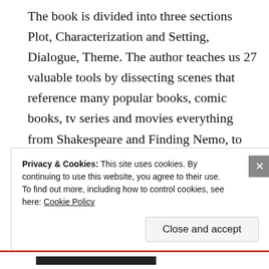The book is divided into three sections Plot, Characterization and Setting, Dialogue, Theme. The author teaches us 27 valuable tools by dissecting scenes that reference many popular books, comic books, tv series and movies everything from Shakespeare and Finding Nemo, to Breaking Bad and Jhumpa Lahiri's Interpreter of Maladies. Mr. Rubin illustrates each principle and follows up with exercises as well as mini quizzes to help writers master each example and really understand the core of each principle.
Privacy & Cookies: This site uses cookies. By continuing to use this website, you agree to their use.
To find out more, including how to control cookies, see here: Cookie Policy